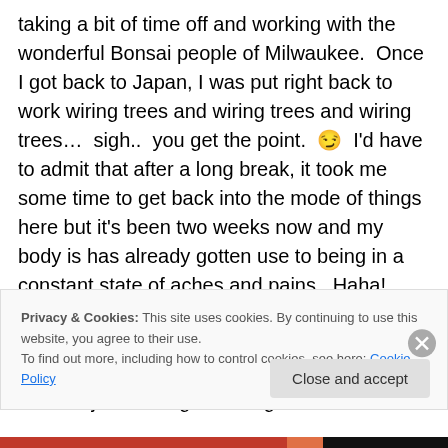taking a bit of time off and working with the wonderful Bonsai people of Milwaukee.  Once I got back to Japan, I was put right back to work wiring trees and wiring trees and wiring trees…  sigh..  you get the point. 😉  I'd have to admit that after a long break, it took me some time to get back into the mode of things here but it's been two weeks now and my body is has already gotten use to being in a constant state of aches and pains.  Haha!  Today is my first day off since coming back so I thought it was be a good time to get some writing done.  I got tons of stuff backlogged that are just waiting to be organized and
Privacy & Cookies: This site uses cookies. By continuing to use this website, you agree to their use.
To find out more, including how to control cookies, see here: Cookie Policy
Close and accept